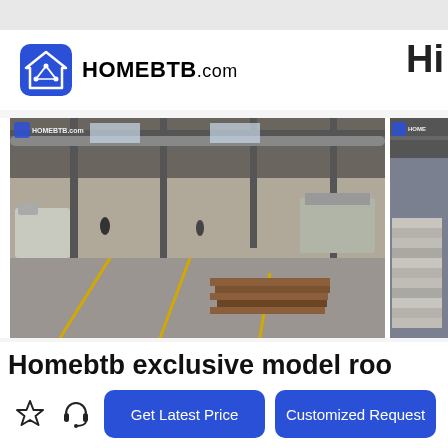[Figure (logo): HOMEBTB.com logo with blue house/circuit icon and bold text]
Hi
[Figure (photo): Interior of a large furniture/woodworking factory showing machines, wood materials, and workers on a concrete floor with steel roof structure. Watermark: HOMEBTB.com]
[Figure (photo): Partial view of another factory or warehouse area showing stacked materials, partially cropped on right side. Watermark: HOME...]
Homebtb exclusive model roo
Get Latest Price
Customized Request